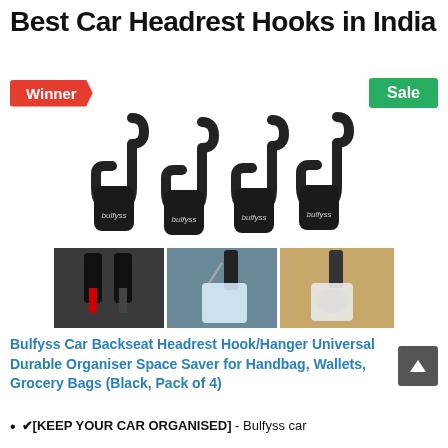Best Car Headrest Hooks in India
Winner
Sale
[Figure (photo): Four black Bulfyss car headrest hooks shown individually above, and three usage photos below showing hooks attached to car headrests holding bags and other items]
Bulfyss Car Backseat Headrest Hook/Hanger Universal Durable Organiser Space Saver for Handbag, Wallets, Grocery Bags (Black, Pack of 4)
✔[KEEP YOUR CAR ORGANISED] - Bulfyss car